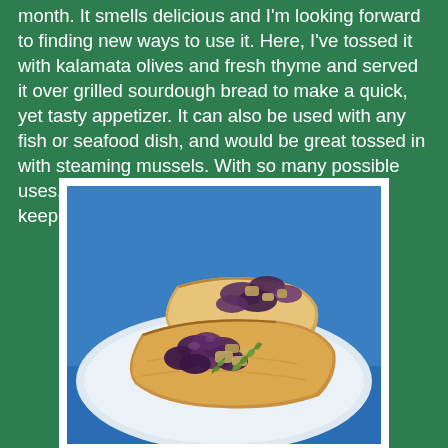month. It smells delicious and I'm looking forward to finding new ways to use it. Here, I've tossed it with kalamata olives and fresh thyme and served it over grilled sourdough bread to make a quick, yet tasty appetizer. It can also be used with any fish or seafood dish, and would be great tossed in with steaming mussels. With so many possible uses, this is definitely something you need to keep on hand.
[Figure (photo): Photo of two pieces of grilled sourdough bread topped with kalamata olives and fresh thyme, served on a white plate against a blue background.]